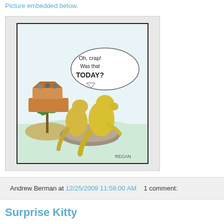Picture embedded below.
[Figure (illustration): Cartoon comic strip by REGAN showing two yellow dinosaurs standing on a rock in rising floodwaters. One dinosaur says 'Oh, crap! Was that TODAY?' in a speech bubble. In the background, Noah's Ark sails away with animals on board. A palm tree is visible on the left on a small island.]
Andrew Berman at 12/25/2009 11:58:00 AM    1 comment:
Surprise Kitty